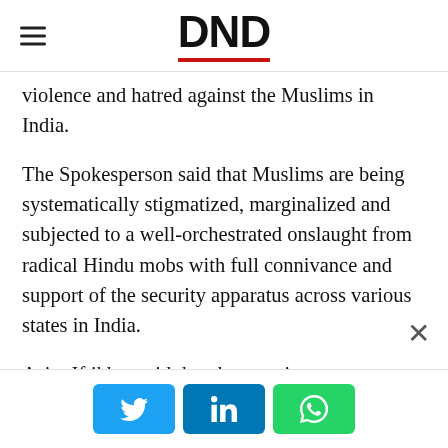DND
violence and hatred against the Muslims in India.
The Spokesperson said that Muslims are being systematically stigmatized, marginalized and subjected to a well-orchestrated onslaught from radical Hindu mobs with full connivance and support of the security apparatus across various states in India.
Asim Iftikhar said that the growing mainstreaming of the reprehensible anti-Muslim sentiment and the increasing attempts at depriving the Muslims of their centuries-old